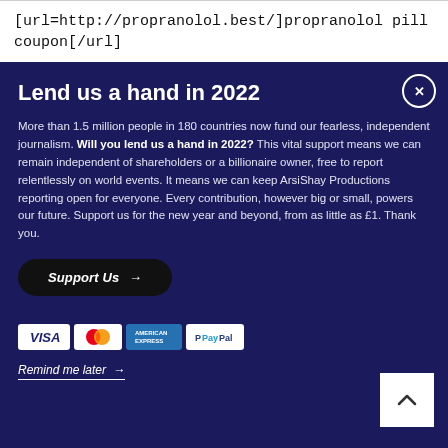[url=http://propranolol.best/]propranolol pill coupon[/url]
Lend us a hand in 2022
More than 1.5 million people in 180 countries now fund our fearless, independent journalism. Will you lend us a hand in 2022? This vital support means we can remain independent of shareholders or a billionaire owner, free to report relentlessly on world events. It means we can keep ArsiShay Productions reporting open for everyone. Every contribution, however big or small, powers our future. Support us for the new year and beyond, from as little as £1. Thank you.
Support Us →
[Figure (other): Payment method icons: VISA, Mastercard, American Express, PayPal]
Remind me later →